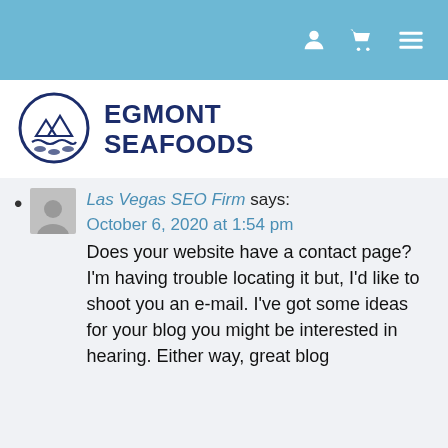[navigation bar with user, cart, and menu icons]
[Figure (logo): Egmont Seafoods logo: circular emblem with fish and waves, dark navy blue]
EGMONT SEAFOODS
Las Vegas SEO Firm says: October 6, 2020 at 1:54 pm
Does your website have a contact page? I'm having trouble locating it but, I'd like to shoot you an e-mail. I've got some ideas for your blog you might be interested in hearing. Either way, great blog